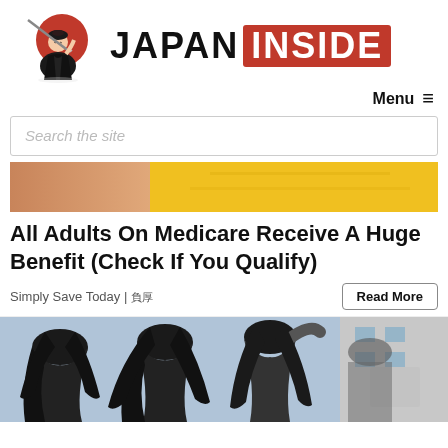[Figure (logo): Japan Inside website logo: samurai illustration with red circle on left, 'JAPAN INSIDE' text where INSIDE is in a red rectangle]
Menu ≡
Search the site
[Figure (photo): Cropped banner image showing skin/yellow background]
All Adults On Medicare Receive A Huge Benefit (Check If You Qualify)
Simply Save Today | 赞助
Read More
[Figure (photo): Photo of several women with long dark hair seen from behind, outdoors in urban setting]